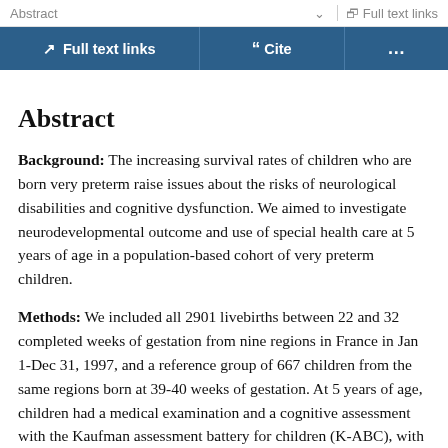Abstract   Full text links
Full text links   Cite   ...
Abstract
Background: The increasing survival rates of children who are born very preterm raise issues about the risks of neurological disabilities and cognitive dysfunction. We aimed to investigate neurodevelopmental outcome and use of special health care at 5 years of age in a population-based cohort of very preterm children.
Methods: We included all 2901 livebirths between 22 and 32 completed weeks of gestation from nine regions in France in Jan 1-Dec 31, 1997, and a reference group of 667 children from the same regions born at 39-40 weeks of gestation. At 5 years of age, children had a medical examination and a cognitive assessment with the Kaufman assessment battery for children (K-ABC), with